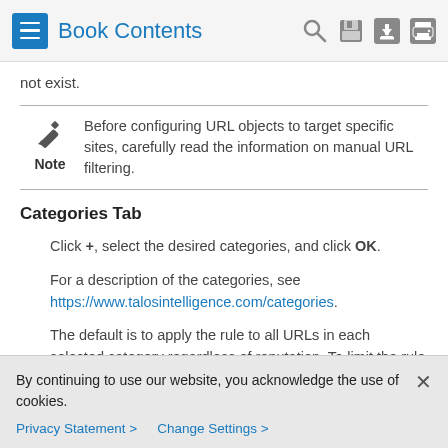Book Contents
not exist.
Note: Before configuring URL objects to target specific sites, carefully read the information on manual URL filtering.
Categories Tab
Click +, select the desired categories, and click OK.
For a description of the categories, see https://www.talosintelligence.com/categories.
The default is to apply the rule to all URLs in each selected category regardless of reputation. To limit the rule based
By continuing to use our website, you acknowledge the use of cookies.
Privacy Statement > Change Settings >